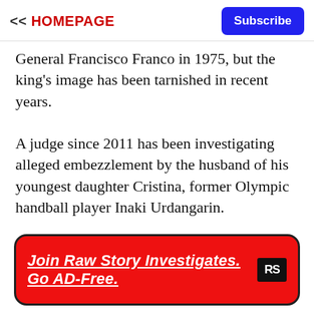<< HOMEPAGE  Subscribe
General Francisco Franco in 1975, but the king's image has been tarnished in recent years.
A judge since 2011 has been investigating alleged embezzlement by the husband of his youngest daughter Cristina, former Olympic handball player Inaki Urdangarin.
[Figure (other): Red banner advertisement: Join Raw Story Investigates. Go AD-Free. with RS logo]
The judge in that case is also due to rule on whether to